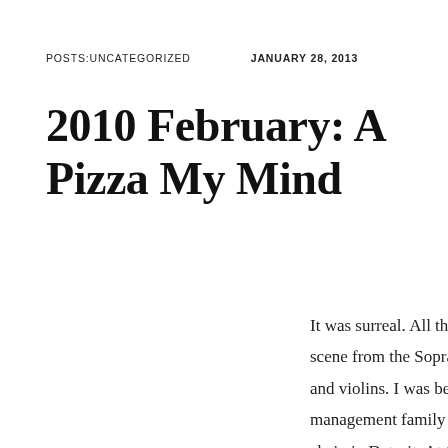POSTS:UNCATEGORIZED    JANUARY 28, 2013
2010 February: A Pizza My Mind
It was surreal. All that was missing from a scene from the Soprano's were the candles and violins. I was being inducted into the management family of a growing pizza chain in Detroit. At 18